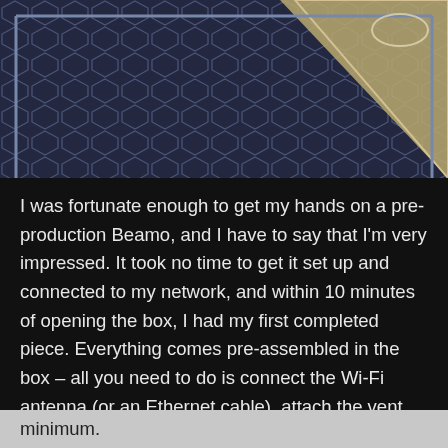[Figure (photo): Close-up photo of a triangular laser-cut wooden piece resting on a blue honeycomb/foam material. A frame border is visible at the edges.]
I was fortunate enough to get my hands on a pre-production Beamo, and I have to say that I'm very impressed. It took no time to get it set up and connected to my network, and within 10 minutes of opening the box, I had my first completed piece. Everything comes pre-assembled in the box – all you need to do is connect the Wi-Fi antenna (or an Ethernet cable), attach the vent hose to the back of the printer, and plug it in. You'll definitely want to run that vent hose to a window, as it's important to keep the fumes in your space to a minimum.